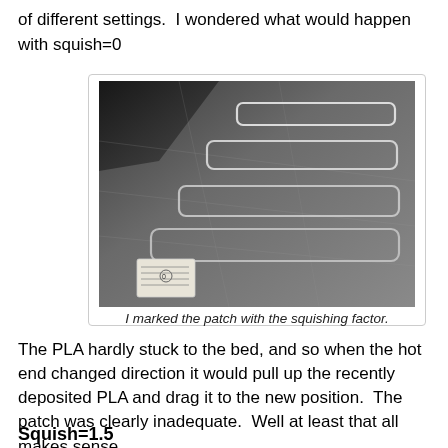of different settings.  I wondered what would happen with squish=0
[Figure (photo): Photo of a 3D printer bed showing multiple rectangular outline patches printed with squish=0, barely adhering to the metal bed surface. A small label card is visible at bottom left.]
I marked the patch with the squishing factor.
The PLA hardly stuck to the bed, and so when the hot end changed direction it would pull up the recently deposited PLA and drag it to the new position.  The patch was clearly inadequate.  Well at least that all makes sense.
Squish=1.5